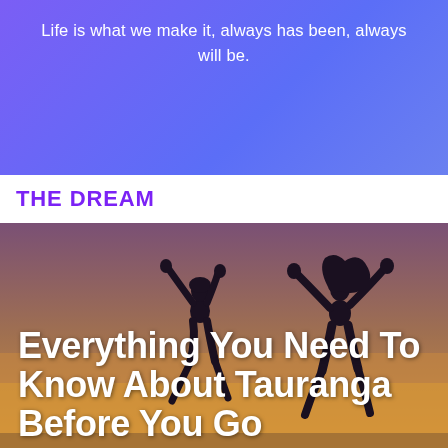Life is what we make it, always has been, always will be.
THE DREAM
[Figure (photo): Silhouette of two people jumping joyfully against a warm sunset sky (orange and purple tones), arms raised in celebration.]
Everything You Need To Know About Tauranga Before You Go